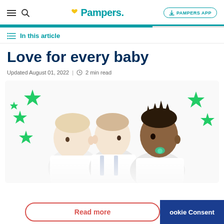Pampers | PAMPERS APP
In this article
Love for every baby
Updated August 01, 2022 | 2 min read
[Figure (photo): Three babies sitting side by side against a white background with green stars around them. The leftmost baby has light hair looking down left, the middle baby is facing right, and the rightmost baby with dark spiky hair has a green pacifier.]
Read more
Cookie Consent